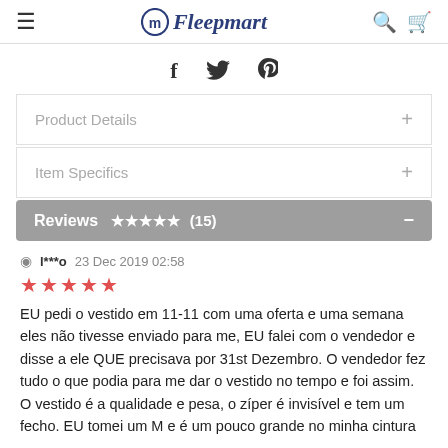≡  Fleepmart  🔍 🛒
[Figure (infographic): Social share icons: Facebook (f), Twitter (bird), Pinterest (p)]
Product Details +
Item Specifics +
Reviews ★★★★★ (15) —
l***o  23 Dec 2019 02:58
★★★★★
EU pedi o vestido em 11-11 com uma oferta e uma semana eles não tivesse enviado para me, EU falei com o vendedor e disse a ele QUE precisava por 31st Dezembro. O vendedor fez tudo o que podia para me dar o vestido no tempo e foi assim. O vestido é a qualidade e pesa, o zíper é invisível e tem um fecho. EU tomei um M e é um pouco grande no minha cintura